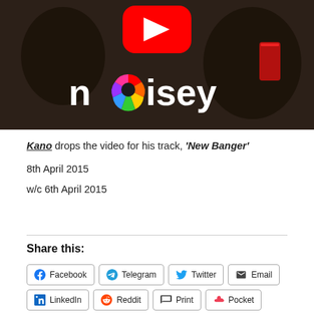[Figure (screenshot): YouTube video thumbnail showing the Noisey logo with colorful wheel design on a dark background of people in a scene]
Kano drops the video for his track, 'New Banger'
8th April 2015
w/c 6th April 2015
Share this:
Facebook  Telegram  Twitter  Email  LinkedIn  Reddit  Print  Pocket  Tumblr  WhatsApp  Skype  More